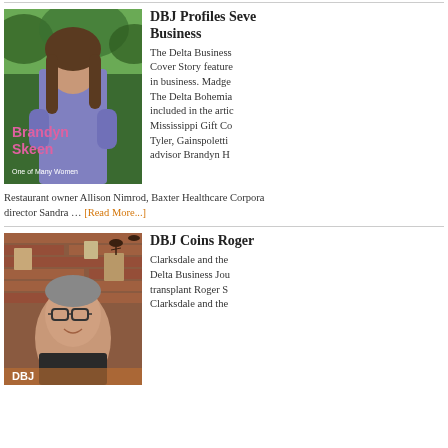[Figure (photo): Photo of Brandyn Skeen, a woman with long brown hair wearing a blue ruffled top, standing outdoors with green trees in background. Text overlay reads 'Brandyn Skeen' in pink and 'One of Many Women' in white.]
DBJ Profiles Seven... Business
The Delta Business... Cover Story feature... in business. Madge... The Delta Bohemia... included in the artic... Mississippi Gift Co... Tyler, Gainspoletti... advisor Brandyn H...
Restaurant owner Allison Nimrod, Baxter Healthcare Corpora... director Sandra ...
[Read More...]
[Figure (photo): Photo of a man with glasses and short hair, smiling, standing in front of a brick wall with artwork and mounted birds in a warm indoor setting.]
DBJ Coins Roger...
Clarksdale and the... Delta Business Jou... transplant Roger S... Clarksdale and the...